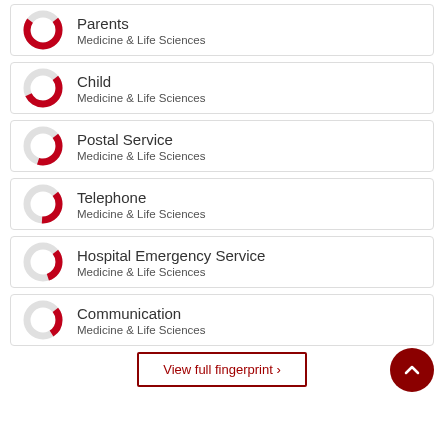Parents / Medicine & Life Sciences
Child / Medicine & Life Sciences
Postal Service / Medicine & Life Sciences
Telephone / Medicine & Life Sciences
Hospital Emergency Service / Medicine & Life Sciences
Communication / Medicine & Life Sciences
View full fingerprint ›